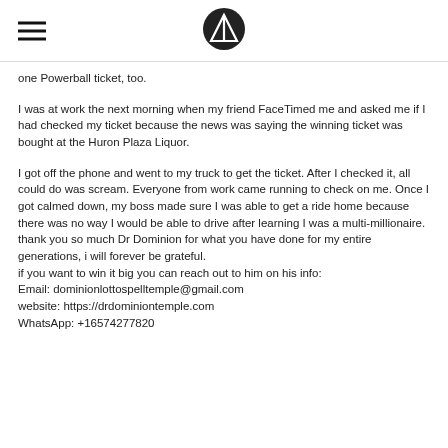[hamburger menu] [logo icon]
one Powerball ticket, too.
I was at work the next morning when my friend FaceTimed me and asked me if I had checked my ticket because the news was saying the winning ticket was bought at the Huron Plaza Liquor.
I got off the phone and went to my truck to get the ticket. After I checked it, all could do was scream. Everyone from work came running to check on me. Once I got calmed down, my boss made sure I was able to get a ride home because there was no way I would be able to drive after learning I was a multi-millionaire. thank you so much Dr Dominion for what you have done for my entire generations, i will forever be grateful.
if you want to win it big you can reach out to him on his info:
Email: dominionlottospelltemple@gmail.com
website: https://drdominiontemple.com
WhatsApp: +16574277820